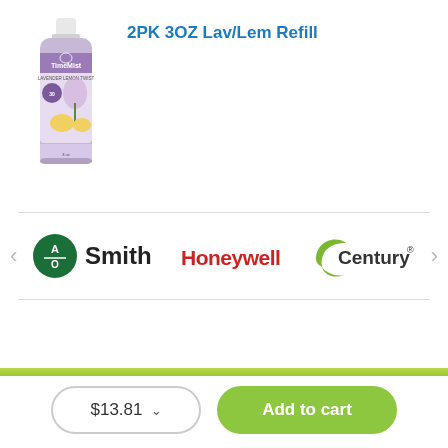2PK 3OZ Lav/Lem Refill
[Figure (photo): TimeMist 3oz Lavender Lemon refill spray can with purple and white label showing lavender and lemon imagery]
[Figure (logo): AO Smith brand logo — green circle with AO text followed by Smith in bold black]
[Figure (logo): Honeywell brand logo in bold red text]
[Figure (logo): Century brand logo with green crescent swoosh and Century text with registered trademark]
$13.81
Add to cart